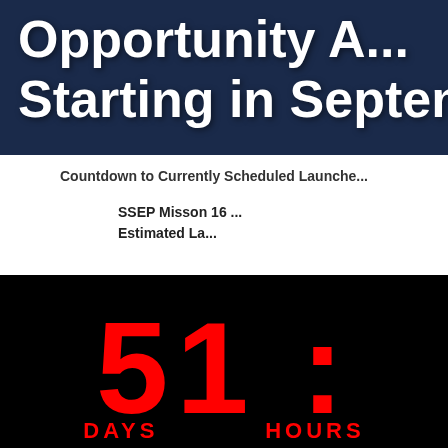[Figure (screenshot): Dark blue banner background with large white bold text reading 'Opportunity A... Starting in Septemb...' (text is cut off on the right side)]
Countdown to Currently Scheduled Launche...
SSEP Misson 16
Estimated La...
[Figure (screenshot): Black background countdown timer showing '51 : 05' in large red digital-style numerals, with 'DAYS' and 'HOURS' labels in red below]